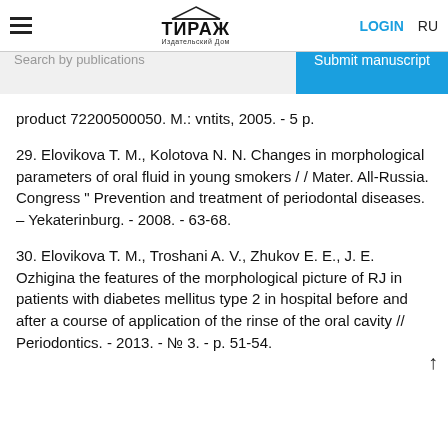ТИРАЖ Издательский Дом | LOGIN | RU
Search by publications
Submit manuscript
product 72200500050. M.: vntits, 2005. - 5 p.
29. Elovikova T. M., Kolotova N. N. Changes in morphological parameters of oral fluid in young smokers / / Mater. All-Russia. Congress " Prevention and treatment of periodontal diseases. – Yekaterinburg. - 2008. - 63-68.
30. Elovikova T. M., Troshani A. V., Zhukov E. E., J. E. Ozhigina the features of the morphological picture of RJ in patients with diabetes mellitus type 2 in hospital before and after a course of application of the rinse of the oral cavity // Periodontics. - 2013. - № 3. - p. 51-54.